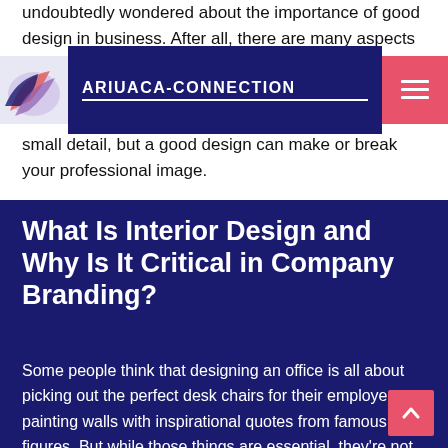undoubtedly wondered about the importance of good design in business. After all, there are many aspects of company design, from your logo and color scheme to your office layout and furniture selection, what should your office look like? It might seem like a small detail, but a good design can make or break your professional image.
[Figure (logo): Ariuaca-Connection website header with logo icon (decorative bird/wing motif) and site name in white text on dark blue background, with pink hamburger menu button on the right.]
What Is Interior Design and Why Is It Critical in Company Branding?
Some people think that designing an office is all about picking out the perfect desk chairs for their employees or painting walls with inspirational quotes from famous figures. But while those things are essential, they're not what makes up a space's overall design aesthetic.